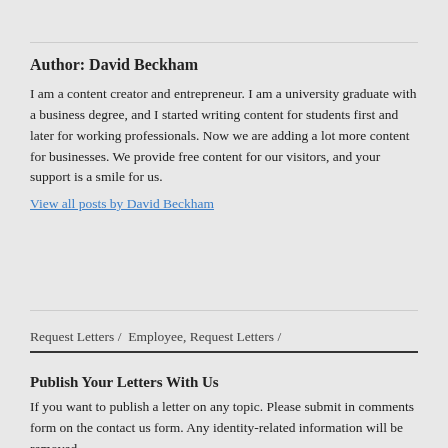Author: David Beckham
I am a content creator and entrepreneur. I am a university graduate with a business degree, and I started writing content for students first and later for working professionals. Now we are adding a lot more content for businesses. We provide free content for our visitors, and your support is a smile for us.
View all posts by David Beckham
Request Letters / Employee, Request Letters /
Publish Your Letters With Us
If you want to publish a letter on any topic. Please submit in comments form on the contact us form. Any identity-related information will be removed.